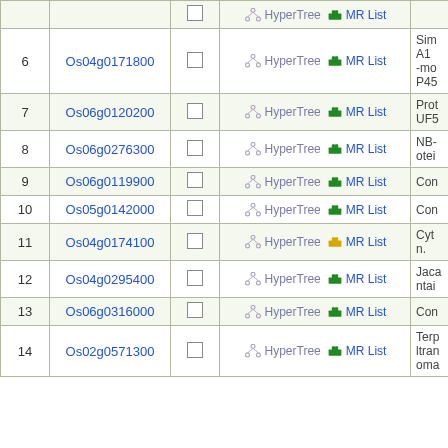| # | Gene ID |  | Links | Description |
| --- | --- | --- | --- | --- |
| 6 | Os04g0171800 | ☐ | HyperTree  MR List | Sim A1 -mo P45 |
| 7 | Os06g0120200 | ☐ | HyperTree  MR List | Prot UF5 |
| 8 | Os06g0276300 | ☐ | HyperTree  MR List | NB- otei |
| 9 | Os06g0119900 | ☐ | HyperTree  MR List | Con |
| 10 | Os05g0142000 | ☐ | HyperTree  MR List | Con |
| 11 | Os04g0174100 | ☐ | HyperTree  MR List | Cyt n. |
| 12 | Os04g0295400 | ☐ | HyperTree  MR List | Jaca ntai |
| 13 | Os06g0316000 | ☐ | HyperTree  MR List | Con |
| 14 | Os02g0571300 | ☐ | HyperTree  MR List | Terp ltran oma |